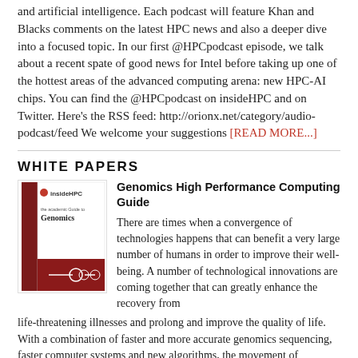and artificial intelligence. Each podcast will feature Khan and Blacks comments on the latest HPC news and also a deeper dive into a focused topic. In our first @HPCpodcast episode, we talk about a recent spate of good news for Intel before taking up one of the hottest areas of the advanced computing arena: new HPC-AI chips. You can find the @HPCpodcast on insideHPC and on Twitter. Here’s the RSS feed: http://orionx.net/category/audio-podcast/feed We welcome your suggestions [READ MORE...]
WHITE PAPERS
[Figure (illustration): Book cover for insideHPC Genomics High Performance Computing Guide, dark red cover with insideHPC logo]
Genomics High Performance Computing Guide

There are times when a convergence of technologies happens that can benefit a very large number of humans in order to improve their well-being. A number of technological innovations are coming together that can greatly enhance the recovery from life-threatening illnesses and prolong and improve the quality of life. With a combination of faster and more accurate genomics sequencing, faster computer systems and new algorithms, the movement of discovering what medicine will work best on individual patients has moved from research institutions to bedside doctors. Physicians and other healthcare providers now have better, faster, and more accurate tools and data to determine optimal treatment plans based on more patient data. This is especially true for pediatric cancer patients. These fast-moving